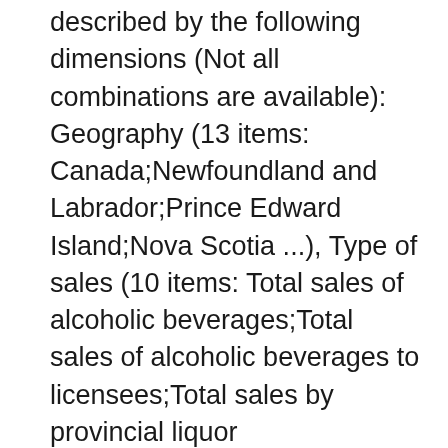described by the following dimensions (Not all combinations are available): Geography (13 items: Canada;Newfoundland and Labrador;Prince Edward Island;Nova Scotia ...), Type of sales (10 items: Total sales of alcoholic beverages;Total sales of alcoholic beverages to licensees;Total sales by provincial liquor authorities;Total sales of alcoholic beverages to consumers ...), Adjustment (2 items: Unadjusted;Seasonally adjusted ...).
Last Updated: Oct. 28, 2021